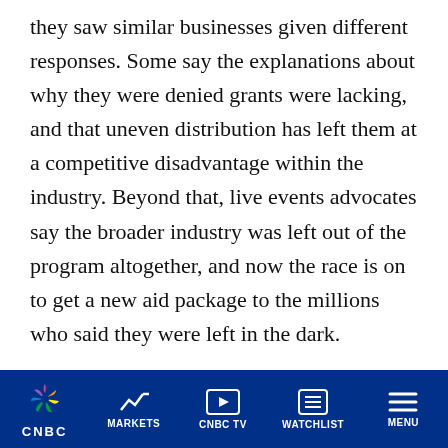they saw similar businesses given different responses. Some say the explanations about why they were denied grants were lacking, and that uneven distribution has left them at a competitive disadvantage within the industry. Beyond that, live events advocates say the broader industry was left out of the program altogether, and now the race is on to get a new aid package to the millions who said they were left in the dark.
‘I didn’t see that coming at all’
“I didn’t see that coming at all,” Kennedy said,
CNBC | MARKETS | CNBC TV | WATCHLIST | MENU